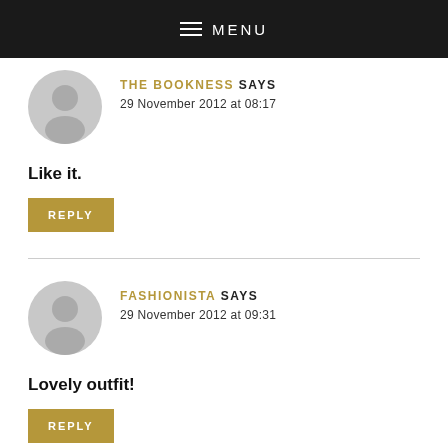≡ MENU
THE BOOKNESS SAYS
29 November 2012 at 08:17
Like it.
REPLY
FASHIONISTA SAYS
29 November 2012 at 09:31
Lovely outfit!
REPLY